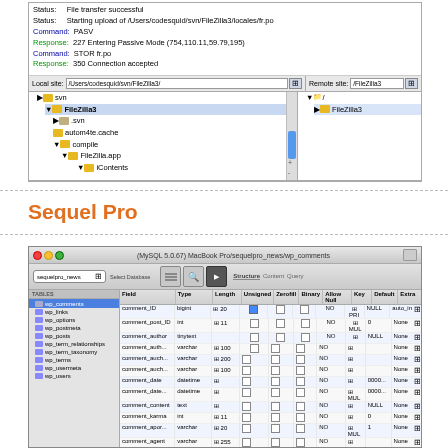[Figure (screenshot): FileZilla FTP client screenshot showing log messages, local site /Users/codesquid/svn/FileZilla3/ and remote site /FileZilla3, with file tree panels and column headers for Filename, Filesize, Filetype]
Sequel Pro
[Figure (screenshot): Sequel Pro MySQL client screenshot showing (MySQL 5.0.67) MacBook Pro/sequelpro_news/wp_comments database with table list on left (wp_comments selected, wp_links, wp_options, wp_postmeta, wp_posts, wp_term_relationships, wp_term_taxonomy, wp_terms, wp_usermeta, wp_users) and field structure on right showing comment_ID, comment_post_ID, comment_author, comment_auth... fields with Type, Length, Unsigned, Zerofill, Binary, Allow Null, Key, Default, Extra columns]